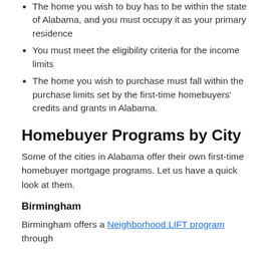The home you wish to buy has to be within the state of Alabama, and you must occupy it as your primary residence
You must meet the eligibility criteria for the income limits
The home you wish to purchase must fall within the purchase limits set by the first-time homebuyers' credits and grants in Alabama.
Homebuyer Programs by City
Some of the cities in Alabama offer their own first-time homebuyer mortgage programs. Let us have a quick look at them.
Birmingham
Birmingham offers a Neighborhood LIFT program through